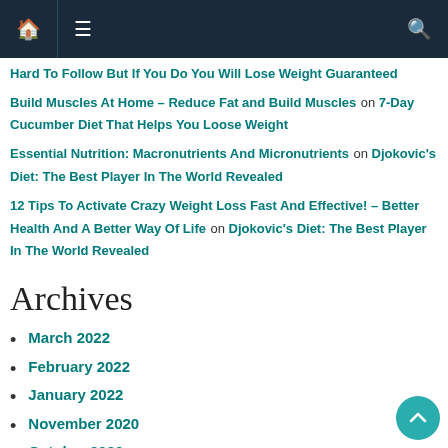Navigation bar with home, menu, and search icons
Hard To Follow But If You Do You Will Lose Weight Guaranteed
Build Muscles At Home – Reduce Fat and Build Muscles on 7-Day Cucumber Diet That Helps You Loose Weight
Essential Nutrition: Macronutrients And Micronutrients on Djokovic's Diet: The Best Player In The World Revealed
12 Tips To Activate Crazy Weight Loss Fast And Effective! – Better Health And A Better Way Of Life on Djokovic's Diet: The Best Player In The World Revealed
Archives
March 2022
February 2022
January 2022
November 2020
October 2020